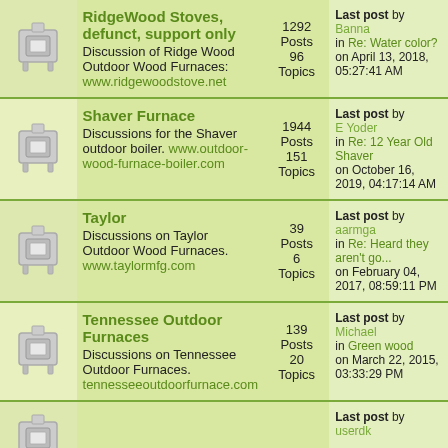| Icon | Forum | Stats | Last Post |
| --- | --- | --- | --- |
| [furnace icon] | RidgeWood Stoves, defunct, support only
Discussion of Ridge Wood Outdoor Wood Furnaces:
www.ridgewoodstove.net | 1292 Posts
96 Topics | Last post by Banna
in Re: Water color?
on April 13, 2018, 05:27:41 AM |
| [furnace icon] | Shaver Furnace
Discussions for the Shaver outdoor boiler. www.outdoor-wood-furnace-boiler.com | 1944 Posts
151 Topics | Last post by E Yoder
in Re: 12 Year Old Shaver
on October 16, 2019, 04:17:14 AM |
| [furnace icon] | Taylor
Discussions on Taylor Outdoor Wood Furnaces. www.taylormfg.com | 39 Posts
6 Topics | Last post by aarmga
in Re: Heard they aren't go...
on February 04, 2017, 08:59:11 PM |
| [furnace icon] | Tennessee Outdoor Furnaces
Discussions on Tennessee Outdoor Furnaces.
tennesseeoutdoorfurnace.com | 139 Posts
20 Topics | Last post by Michael
in Green wood
on March 22, 2015, 03:33:29 PM |
| [furnace icon] |  |  | Last post by
userdk |